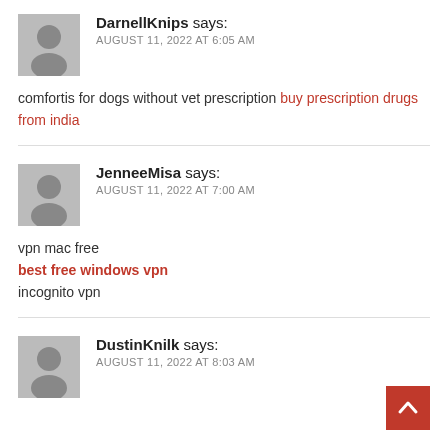DarnellKnips says: AUGUST 11, 2022 AT 6:05 AM
comfortis for dogs without vet prescription buy prescription drugs from india
JenneeMisa says: AUGUST 11, 2022 AT 7:00 AM
vpn mac free best free windows vpn incognito vpn
DustinKnilk says: AUGUST 11, 2022 AT 8:03 AM